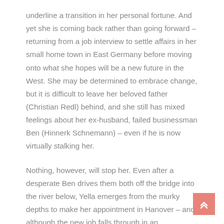underline a transition in her personal fortune. And yet she is coming back rather than going forward – returning from a job interview to settle affairs in her small home town in East Germany before moving onto what she hopes will be a new future in the West. She may be determined to embrace change, but it is difficult to leave her beloved father (Christian Redl) behind, and she still has mixed feelings about her ex-husband, failed businessman Ben (Hinnerk Schnemann) – even if he is now virtually stalking her.
Nothing, however, will stop her. Even after a desperate Ben drives them both off the bridge into the river below, Yella emerges from the murky depths to make her appointment in Hanover – and although the new job falls through in an unexpectedly humiliating fashion, she soon finds herself working for Philipp (Devid Striesow), a forward-thinking